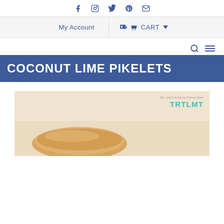Social icons: Facebook, Instagram, Twitter, Pinterest, Email
My Account | CART
Search, Menu
COCONUT LIME PIKELETS
[Figure (photo): Photo of coconut lime pikelets on a wooden board, with TRTLMT watermark logo and tagline 'The road to living my Thermo Miser' in the top right corner]